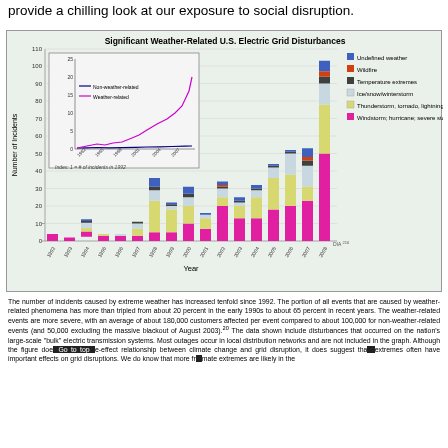provide a chilling look at our exposure to social disruption.
[Figure (stacked-bar-chart): Significant Weather-Related U.S. Electric Grid Disturbances]
The number of incidents caused by extreme weather has increased tenfold since 1992. The portion of all events that are caused by weather-related phenomena has more than tripled from about 20 percent in the early 1990s to about 65 percent in recent years. The weather-related events are more severe, with an average of about 180,000 customers affected per event compared to about 100,000 for non-weather-related events (and 50,000 excluding the massive blackout of August 2003).²⁰ The data shown include disturbances that occurred on the nation's large-scale "bulk" electric transmission systems. Most outages occur in local distribution networks and are not included in the graph. Although the figure does not establish a cause-effect relationship between climate change and grid disruption, it does suggest that more frequent weather extremes often have important effects on grid disruptions. We do know that more frequent and intense climate extremes are likely in the